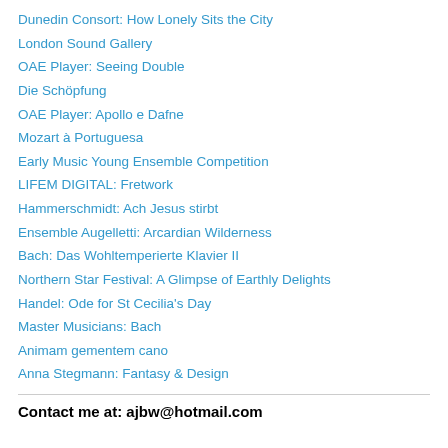Dunedin Consort: How Lonely Sits the City
London Sound Gallery
OAE Player: Seeing Double
Die Schöpfung
OAE Player: Apollo e Dafne
Mozart à Portuguesa
Early Music Young Ensemble Competition
LIFEM DIGITAL: Fretwork
Hammerschmidt: Ach Jesus stirbt
Ensemble Augelletti: Arcardian Wilderness
Bach: Das Wohltemperierte Klavier II
Northern Star Festival: A Glimpse of Earthly Delights
Handel: Ode for St Cecilia's Day
Master Musicians: Bach
Animam gementem cano
Anna Stegmann: Fantasy & Design
Contact me at: ajbw@hotmail.com